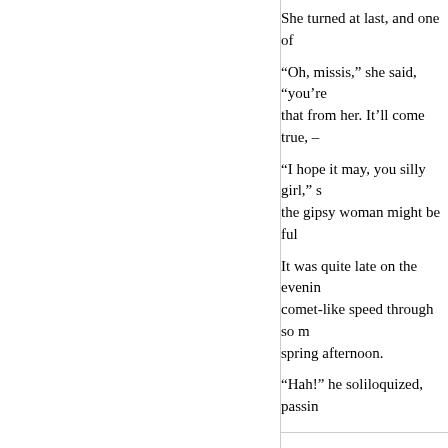She turned at last, and one of
“Oh, missis,” she said, “you’re that from her. It’ll come true, –
“I hope it may, you silly girl,” s the gipsy woman might be ful
It was quite late on the evenin comet-like speed through so m spring afternoon.
“Hah!” he soliloquized, passin
dine later and later every yea By George, there’s his Grace behind ’em, by Jove! — in her she could. And there’s Charle him. What does Charley mea morals corrupted! Ah! So here
He dismounted at the White H minutes to finish his pint of po
It was nearly nine o’clock, and